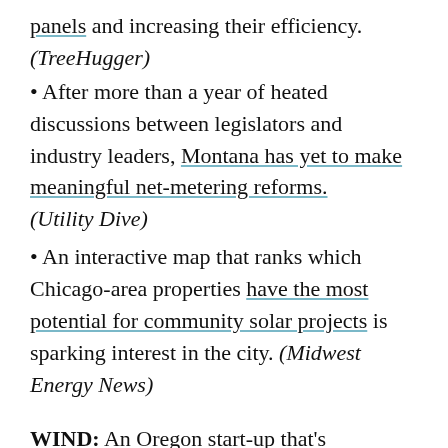panels and increasing their efficiency. (TreeHugger)
After more than a year of heated discussions between legislators and industry leaders, Montana has yet to make meaningful net-metering reforms. (Utility Dive)
An interactive map that ranks which Chicago-area properties have the most potential for community solar projects is sparking interest in the city. (Midwest Energy News)
WIND: An Oregon start-up that’s harnessing wind energy using kites receives a $600,000 grant from the Department of Agriculture. (Portland Business Journal)